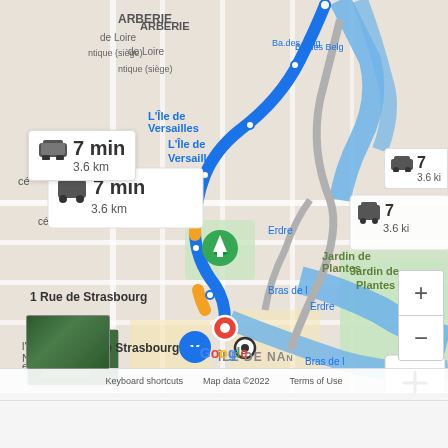[Figure (map): Google Maps screenshot showing driving directions in Nantes, France. A blue route is highlighted from the north, passing through L'Île de Versailles area down to 1 Rue de Strasbourg. A popup shows 7 min, 3.6 km. Map labels include ARBERIE, de Loire, ntique (siège), L'Île de Versailles, Ba.des Belg, Jardin de Plantes, l'Histoire Naturelle, es de l'Île, ÎLE DE NA, Bras de l, Erdre. Zoom controls (+/-) visible. Google branding, Keyboard shortcuts, Map data ©2022, Terms of Use shown at bottom.]